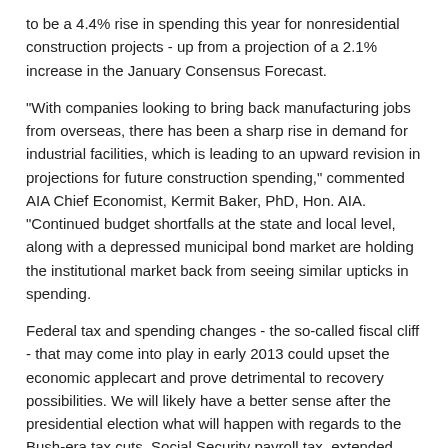to be a 4.4% rise in spending this year for nonresidential construction projects - up from a projection of a 2.1% increase in the January Consensus Forecast.
"With companies looking to bring back manufacturing jobs from overseas, there has been a sharp rise in demand for industrial facilities, which is leading to an upward revision in projections for future construction spending," commented AIA Chief Economist, Kermit Baker, PhD, Hon. AIA. "Continued budget shortfalls at the state and local level, along with a depressed municipal bond market are holding the institutional market back from seeing similar upticks in spending.
Federal tax and spending changes - the so-called fiscal cliff - that may come into play in early 2013 could upset the economic applecart and prove detrimental to recovery possibilities. We will likely have a better sense after the presidential election what will happen with regards to the Bush-era tax cuts, Social Security payroll tax, extended unemployment, and deficit reduction plans that will have a ripple effect that will extend to the construction industry."
About AIA
Since 1857, the AIA has represented the professional interests of